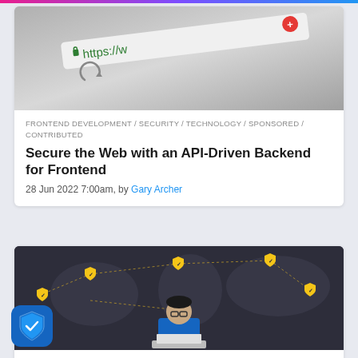[Figure (screenshot): HTTPS browser address bar with green lock icon and red X button, shown at an angle on gray background]
FRONTEND DEVELOPMENT / SECURITY / TECHNOLOGY / SPONSORED / CONTRIBUTED
Secure the Web with an API-Driven Backend for Frontend
28 Jun 2022 7:00am, by Gary Archer
[Figure (illustration): Dark world map with golden shield icons and network connection lines, person in blue shirt working at laptop in foreground]
CLOUD SERVICES / SECURITY / TECHNOLOGY
Palo Alto Networks Brings Out-